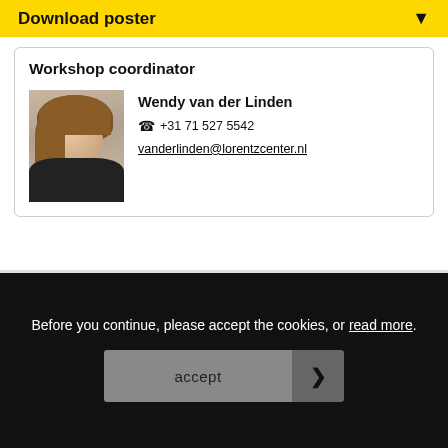Download poster
Workshop coordinator
Wendy van der Linden
+31 71 527 5542
vanderlinden@lorentzcenter.nl
[Figure (logo): Universiteit Leiden The Netherlands logo with circular emblem]
[Figure (logo): NWO logo in teal with spiral design]
Before you continue, please accept the cookies, or read more.
accept